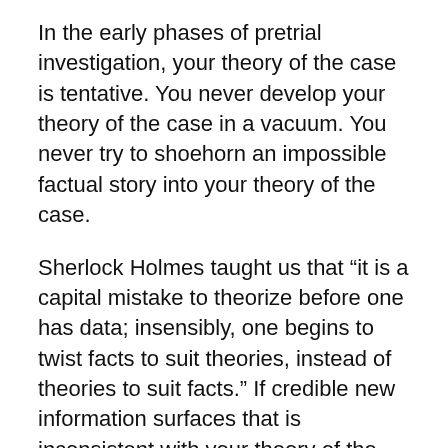In the early phases of pretrial investigation, your theory of the case is tentative. You never develop your theory of the case in a vacuum. You never try to shoehorn an impossible factual story into your theory of the case.
Sherlock Holmes taught us that “it is a capital mistake to theorize before one has data; insensibly, one begins to twist facts to suit theories, instead of theories to suit facts.” If credible new information surfaces that is inconsistent with your theory of the case and it cannot be satisfactorily explained away, you must be willing to regroup, rethink, and form a new theory. In other words, if your theory of the case doesn’t hold water in light of the potential evidence, form a new theory, and test